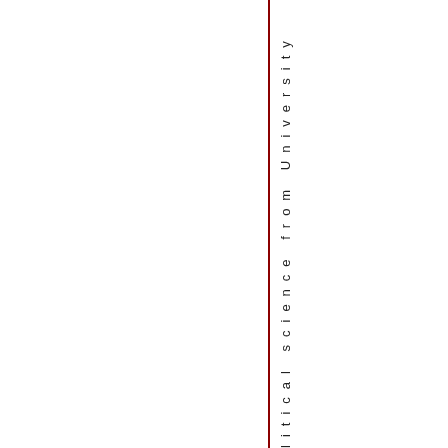litical science from University